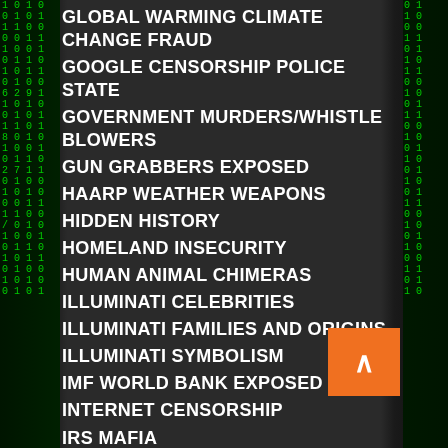GLOBAL WARMING CLIMATE CHANGE FRAUD
GOOGLE CENSORSHIP POLICE STATE
GOVERNMENT MURDERS/WHISTLE BLOWERS
GUN GRABBERS EXPOSED
HAARP WEATHER WEAPONS
HIDDEN HISTORY
HOMELAND INSECURITY
HUMAN ANIMAL CHIMERAS
ILLUMINATI CELEBRITIES
ILLUMINATI FAMILIES AND ORIGINS
ILLUMINATI SYMBOLISM
IMF WORLD BANK EXPOSED
INTERNET CENSORSHIP
IRS MAFIA
ISIS/ISRAELI SECRET INTELLIGENCE SERVICE
ISLAMIC MUSLIM RAPE RINGS
ISLAMIC TERRORIST INVASION